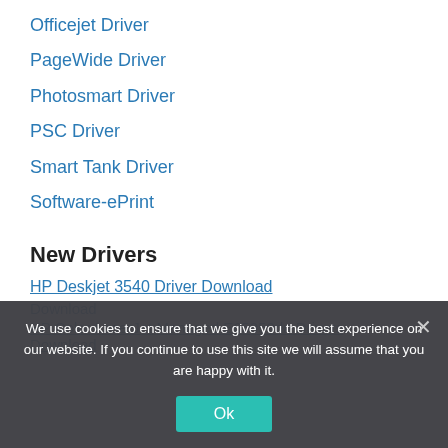Officejet Driver
PageWide Driver
Photosmart Driver
PSC Driver
Smart Tank Driver
Software-ePrint
New Drivers
HP Deskjet 3540 Driver Download
Download
HP Color LaserJet Managed E65050dn Drivers Download
We use cookies to ensure that we give you the best experience on our website. If you continue to use this site we will assume that you are happy with it.